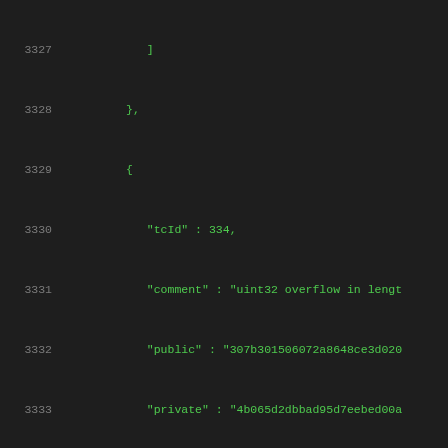Code listing lines 3327-3348, JSON test vector data with tcId, comment, public, private, shared, result, flags fields
3327    ]
3328    },
3329    {
3330        "tcId" : 334,
3331        "comment" : "uint32 overflow in lengt
3332        "public" : "307b301506072a8648ce3d020
3333        "private" : "4b065d2dbbad95d7eebed00a
3334        "shared" : "40c344fb1185a5a97dd00b114
3335        "result" : "acceptable",
3336        "flags" : [
3337           "InvalidAsn"
3338        ]
3339    },
3340    {
3341        "tcId" : 335,
3342        "comment" : "uint64 overflow in lengt
3343        "public" : "307f301906890100000000000
3344        "private" : "4b065d2dbbad95d7eebed00a
3345        "shared" : "40c344fb1185a5a97dd00b114
3346        "result" : "acceptable",
3347        "flags" : [
3348           "InvalidAsn"